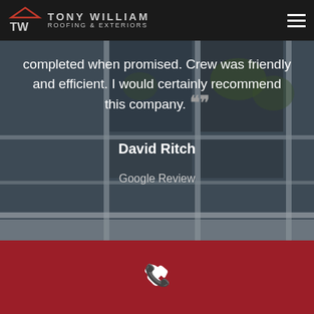TW TONY WILLIAM ROOFING & EXTERIORS
[Figure (screenshot): Background photo of window exterior with dark glass panes and gray frames, showing reflected trees]
completed when promised. Crew was friendly and efficient. I would certainly recommend this company.
David Ritch
Google Review
[Figure (other): Red footer section with white phone icon]